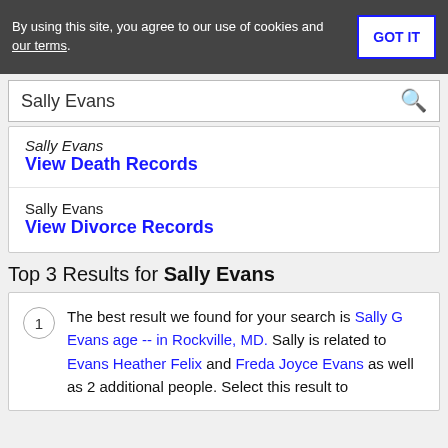By using this site, you agree to our use of cookies and our terms. GOT IT
Sally Evans (search bar)
Sally Evans
View Death Records
Sally Evans
View Divorce Records
Top 3 Results for Sally Evans
1 The best result we found for your search is Sally G Evans age -- in Rockville, MD. Sally is related to Evans Heather Felix and Freda Joyce Evans as well as 2 additional people. Select this result to